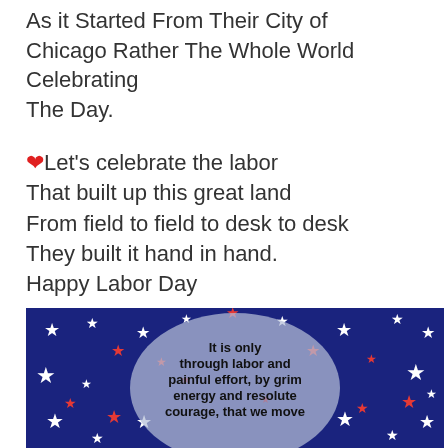As it Started From Their City of Chicago Rather The Whole World Celebrating The Day.
❤Let's celebrate the labor That built up this great land From field to field to desk to desk They built it hand in hand. Happy Labor Day
[Figure (illustration): Dark navy blue background with red and white stars scattered across it. In the center is a large light gray/blue circle overlay containing bold black text: 'It is only through labor and painful effort, by grim energy and resolute courage, that we move']